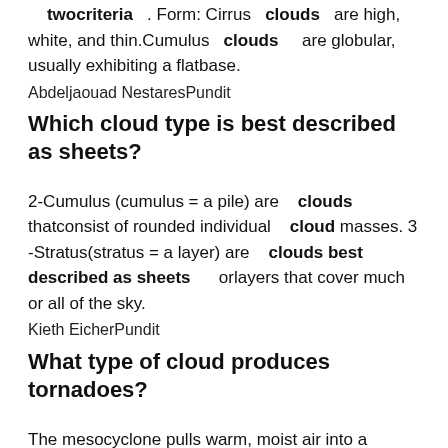twocriteria . Form: Cirrus clouds are high, white, and thin.Cumulus clouds are globular, usually exhibiting a flatbase.
Abdeljaouad NestaresPundit
Which cloud type is best described as sheets?
2-Cumulus (cumulus = a pile) are clouds thatconsist of rounded individual cloud masses. 3 -Stratus(stratus = a layer) are clouds best described as sheets orlayers that cover much or all of the sky.
Kieth EicherPundit
What type of cloud produces tornadoes?
The mesocyclone pulls warm, moist air into a cumulonimbus cloud base, producing a wall cloud. Sometimesthe condensation within the wall